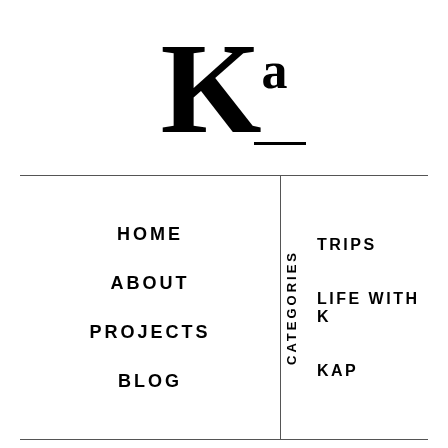Ka
HOME
ABOUT
PROJECTS
BLOG
CATEGORIES
TRIPS
LIFE WITH K
KAP